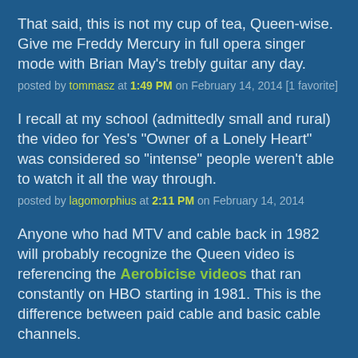That said, this is not my cup of tea, Queen-wise. Give me Freddy Mercury in full opera singer mode with Brian May's trebly guitar any day.
posted by tommasz at 1:49 PM on February 14, 2014 [1 favorite]
I recall at my school (admittedly small and rural) the video for Yes's "Owner of a Lonely Heart" was considered so "intense" people weren't able to watch it all the way through.
posted by lagomorphius at 2:11 PM on February 14, 2014
Anyone who had MTV and cable back in 1982 will probably recognize the Queen video is referencing the Aerobicise videos that ran constantly on HBO starting in 1981. This is the difference between paid cable and basic cable channels.